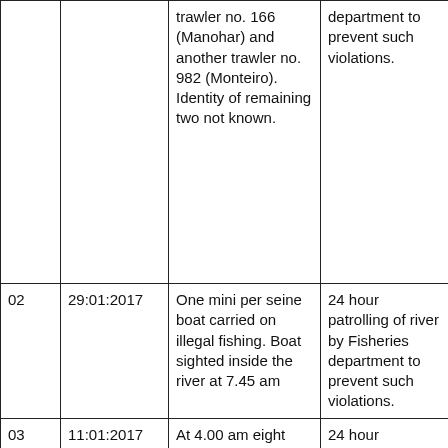|  |  | Details | Action/Recommendation |
| --- | --- | --- | --- |
|  |  | trawler no. 166 (Manohar) and another trawler no. 982 (Monteiro). Identity of remaining two not known. | department to prevent such violations. |
| 02 | 29:01:2017 | One mini per seine boat carried on illegal fishing. Boat sighted inside the river at 7.45 am | 24 hour patrolling of river by Fisheries department to prevent such violations. |
| 03 | 11:01:2017 | At 4.00 am eight trawlers carried on | 24 hour patrolling of river by |